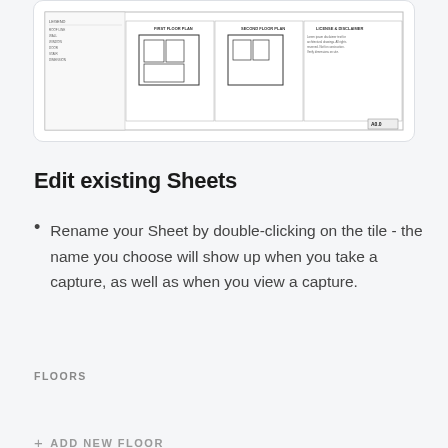[Figure (schematic): Architectural floor plan blueprint showing a house layout with first floor plan, second floor plan, and a legend/disclaimer section. Sheet labeled A0.0.]
Edit existing Sheets
Rename your Sheet by double-clicking on the tile - the name you choose will show up when you take a capture, as well as when you view a capture.
FLOORS
[Figure (screenshot): A floor tile UI element showing a text input field containing 'Ground Floor' with a blue border highlight, and a thumbnail image of the blueprint to the right.]
+ ADD NEW FLOOR